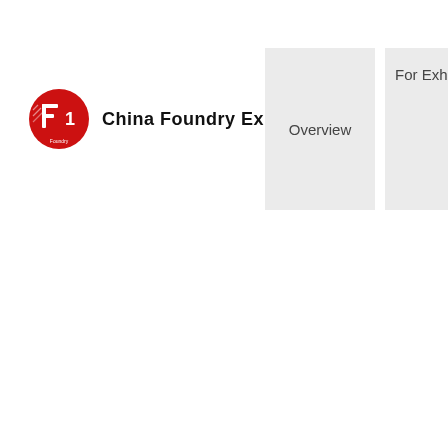[Figure (logo): China Foundry Expo logo: red circle with stylized white 'F1' foundry mark, accompanied by bold text 'China Foundry Expo']
Overview
For Exhibito